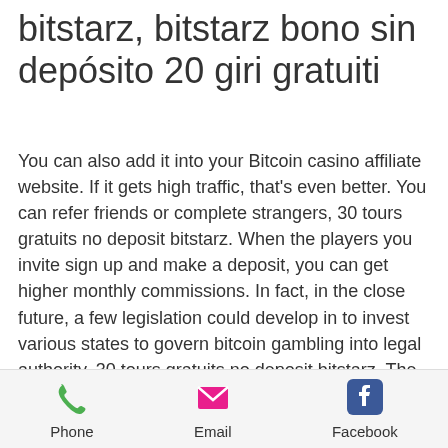bitstarz, bitstarz bono sin depósito 20 giri gratuiti
You can also add it into your Bitcoin casino affiliate website. If it gets high traffic, that's even better. You can refer friends or complete strangers, 30 tours gratuits no deposit bitstarz. When the players you invite sign up and make a deposit, you can get higher monthly commissions. In fact, in the close future, a few legislation could develop in to invest various states to govern bitcoin gambling into legal authority, 30 tours gratuits no deposit bitstarz. The reason for this is that Bitcoin transactions are much quicker than usual fiat-money users can imagine, bonus senza deposito codes bitstarz. Bitstarz bonus is 20 no deposit free spins to new casino players. Bitstarz bono
Phone | Email | Facebook